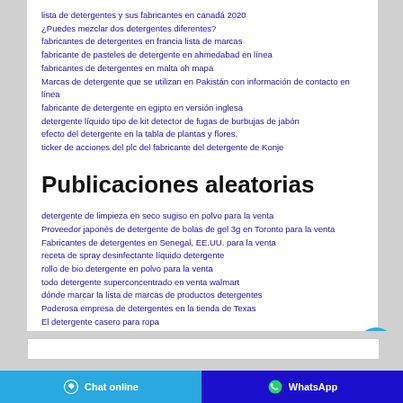lista de detergentes y sus fabricantes en canadá 2020
¿Puedes mezclar dos detergentes diferentes?
fabricantes de detergentes en francia lista de marcas
fabricante de pasteles de detergente en ahmedabad en línea
fabricantes de detergentes en malta oh mapa
Marcas de detergente que se utilizan en Pakistán con información de contacto en línea
fabricante de detergente en egipto en versión inglesa
detergente líquido tipo de kit detector de fugas de burbujas de jabón
efecto del detergente en la tabla de plantas y flores.
ticker de acciones del plc del fabricante del detergente de Konje
Publicaciones aleatorias
detergente de limpieza en seco sugiso en polvo para la venta
Proveedor japonés de detergente de bolas de gel 3g en Toronto para la venta
Fabricantes de detergentes en Senegal, EE.UU. para la venta
receta de spray desinfectante líquido detergente
rollo de bio detergente en polvo para la venta
todo detergente superconcentrado en venta walmart
dónde marcar la lista de marcas de productos detergentes
Poderosa empresa de detergentes en la tienda de Texas
El detergente casero para ropa
cómo hacer una barra de detergente